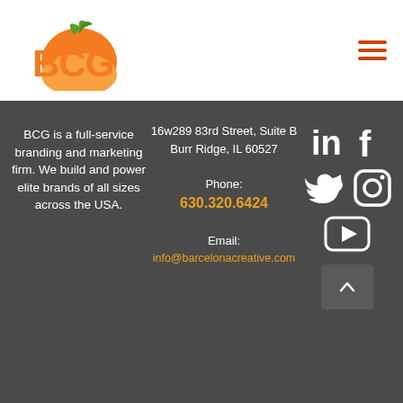[Figure (logo): BCG Barcelona Creative Group logo — orange/green fruit icon with 'BCG' text in orange]
[Figure (other): Hamburger menu icon — three horizontal orange lines]
BCG is a full-service branding and marketing firm. We build and power elite brands of all sizes across the USA.
16w289 83rd Street, Suite B Burr Ridge, IL 60527
Phone:
630.320.6424
Email:
info@barcelonacreative.com
[Figure (other): Social media icons: LinkedIn, Facebook, Twitter, Instagram, YouTube]